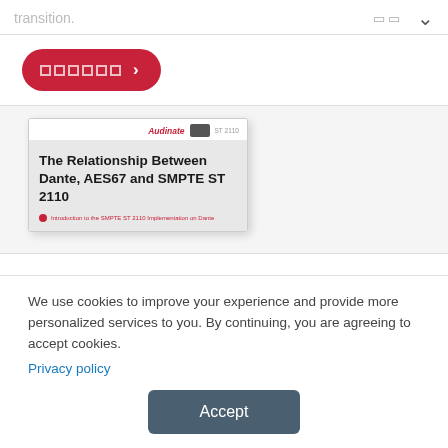transition.
[Figure (screenshot): UI element: two small square icon placeholders and a chevron/down arrow on the right]
[Figure (screenshot): Red rounded button with square grid icons and a right arrow (chevron)]
[Figure (screenshot): Document card preview showing title 'The Relationship Between Dante, AES67 and SMPTE ST 2110' with Audinate logo and a subtitle line]
We use cookies to improve your experience and provide more personalized services to you. By continuing, you are agreeing to accept cookies.
Privacy policy
Accept